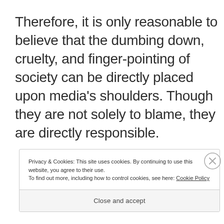Therefore, it is only reasonable to believe that the dumbing down, cruelty, and finger-pointing of society can be directly placed upon media's shoulders. Though they are not solely to blame, they are directly responsible.
Privacy & Cookies: This site uses cookies. By continuing to use this website, you agree to their use.
To find out more, including how to control cookies, see here: Cookie Policy
Close and accept